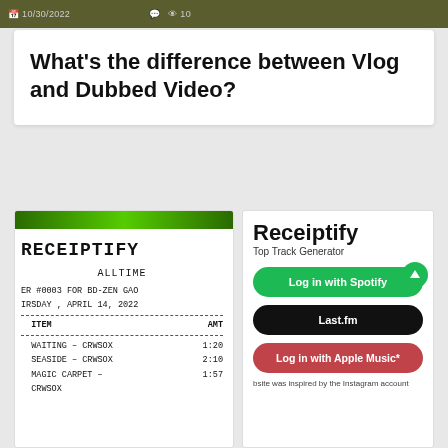10/30/2022
What's the difference between Vlog and Dubbed Video?
[Figure (screenshot): Screenshot of the Receiptify receipt showing ALLTIME listening history for BD-ZEN GAO, Thursday April 14 2022, with tracks: WAITING - CRWSOX 1:20, SEASIDE - CRWSOX 2:10, MAGIC CARPET - CRWSOX 1:57]
[Figure (screenshot): Screenshot of the Receiptify Top Track Generator web app showing login buttons for Spotify, Last.fm, and Apple Music]